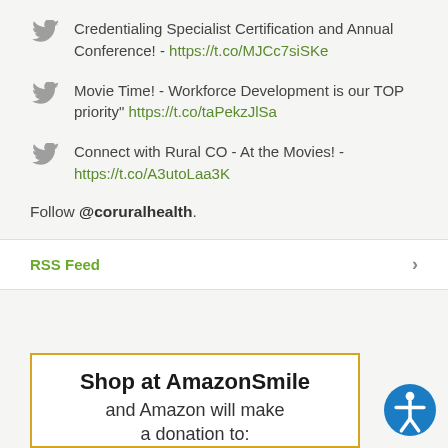Credentialing Specialist Certification and Annual Conference! - https://t.co/MJCc7siSKe
Movie Time! - Workforce Development is our TOP priority" https://t.co/taPekzJlSa
Connect with Rural CO - At the Movies! - https://t.co/A3utoLaa3K
Follow @coruralhealth.
RSS Feed
Shop at AmazonSmile and Amazon will make a donation to: